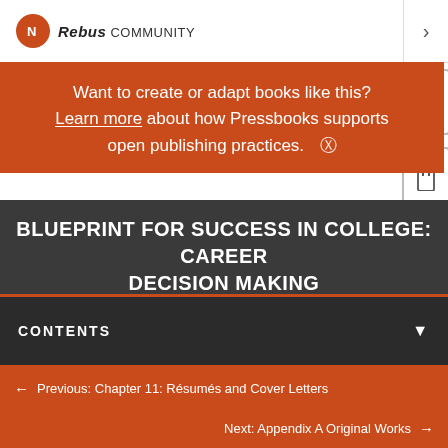Rebus COMMUNITY
Want to create or adapt books like this? Learn more about how Pressbooks supports open publishing practices.
BLUEPRINT FOR SUCCESS IN COLLEGE: CAREER DECISION MAKING
CONTENTS
← Previous: Chapter 11: Résumés and Cover Letters
Next: Appendix A Original Works →